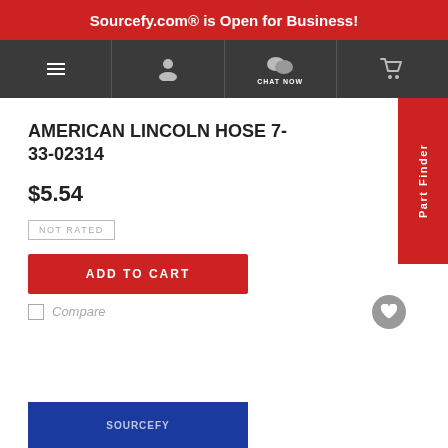Sourcefy.com® is Open for Business!
[Figure (screenshot): Navigation bar with hamburger menu, user profile, chat now, and cart icons on dark gray background]
AMERICAN LINCOLN HOSE 7-33-02314
$5.54
NOT RATED
ADD TO CART
Compare
[Figure (photo): Product image area with blue background showing Sourcefy branding, partially visible at bottom of page]